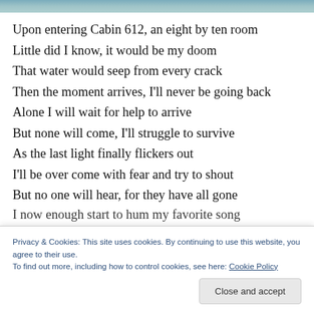[Figure (photo): Partial image strip at top of page showing a blurred outdoor/nature scene in teal/blue tones]
Upon entering Cabin 612, an eight by ten room
Little did I know, it would be my doom
That water would seep from every crack
Then the moment arrives, I'll never be going back
Alone I will wait for help to arrive
But none will come, I'll struggle to survive
As the last light finally flickers out
I'll be over come with fear and try to shout
But no one will hear, for they have all gone
I now enough start to hum my favorite song
Privacy & Cookies: This site uses cookies. By continuing to use this website, you agree to their use.
To find out more, including how to control cookies, see here: Cookie Policy